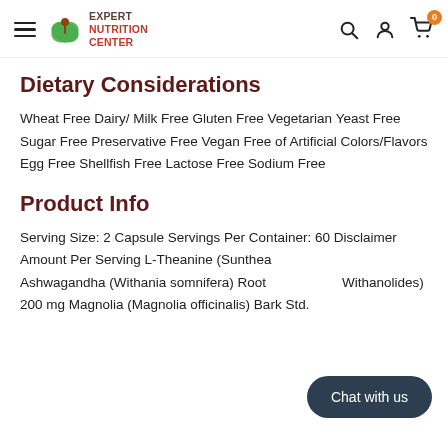Expert Nutrition Center — navigation header
Dietary Considerations
Wheat Free Dairy/ Milk Free Gluten Free Vegetarian Yeast Free Sugar Free Preservative Free Vegan Free of Artificial Colors/Flavors Egg Free Shellfish Free Lactose Free Sodium Free
Product Info
Serving Size: 2 Capsule Servings Per Container: 60 Disclaimer Amount Per Serving L-Theanine (Sunthea... Ashwagandha (Withania somnifera) Root... Withanolides) 200 mg Magnolia (Magnolia officinalis) Bark Std.